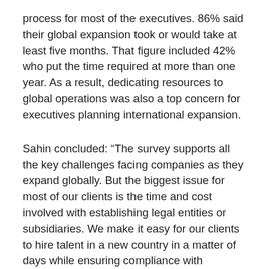process for most of the executives. 86% said their global expansion took or would take at least five months. That figure included 42% who put the time required at more than one year. As a result, dedicating resources to global operations was also a top concern for executives planning international expansion.
Sahin concluded: “The survey supports all the key challenges facing companies as they expand globally. But the biggest issue for most of our clients is the time and cost involved with establishing legal entities or subsidiaries. We make it easy for our clients to hire talent in a new country in a matter of days while ensuring compliance with international laws and agreements.”
Source: Methodology...